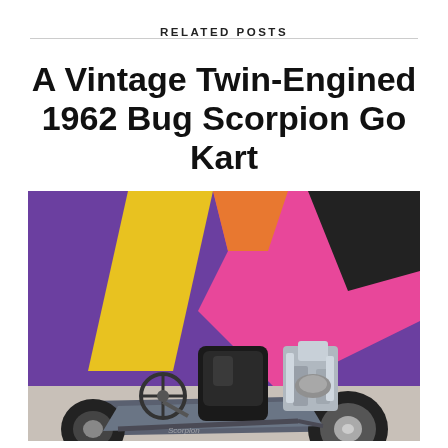RELATED POSTS
A Vintage Twin-Engined 1962 Bug Scorpion Go Kart
[Figure (photo): A vintage 1962 Bug Scorpion go kart with twin engines, black leather seat, steering wheel, and chrome engine components, parked in front of a colorful mural with purple, yellow, pink, and black geometric shapes on a concrete surface.]